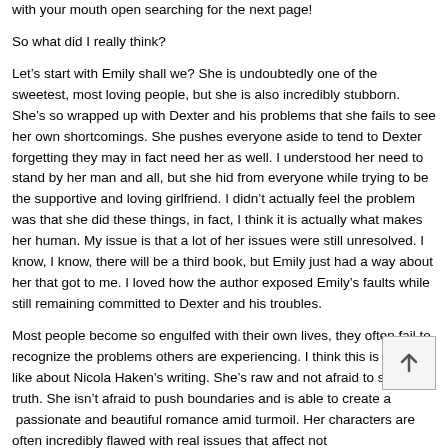with your mouth open searching for the next page!
So what did I really think?
Let's start with Emily shall we? She is undoubtedly one of the sweetest, most loving people, but she is also incredibly stubborn. She's so wrapped up with Dexter and his problems that she fails to see her own shortcomings. She pushes everyone aside to tend to Dexter forgetting they may in fact need her as well. I understood her need to stand by her man and all, but she hid from everyone while trying to be the supportive and loving girlfriend. I didn't actually feel the problem was that she did these things, in fact, I think it is actually what makes her human. My issue is that a lot of her issues were still unresolved. I know, I know, there will be a third book, but Emily just had a way about her that got to me. I loved how the author exposed Emily's faults while still remaining committed to Dexter and his troubles.
Most people become so engulfed with their own lives, they often fail to recognize the problems others are experiencing. I think this is what I like about Nicola Haken's writing. She's raw and not afraid to speak truth. She isn't afraid to push boundaries and is able to create a  passionate and beautiful romance amid turmoil. Her characters are often incredibly flawed with real issues that affect not